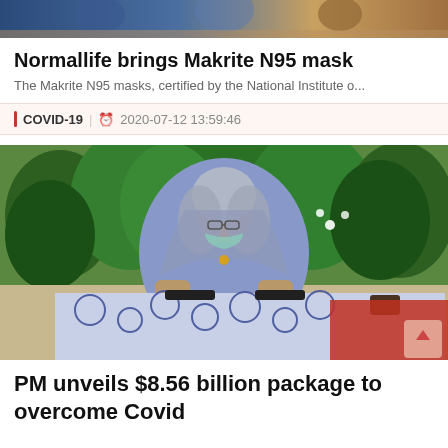[Figure (photo): Top banner image showing people, partially cropped at top of page]
Normallife brings Makrite N95 mask
The Makrite N95 masks, certified by the National Institute o...
COVID-19 | 2020-07-12 13:59:46
[Figure (photo): Photo of a woman wearing a blue headscarf and face mask, sitting at a table with a decorative tablecloth, with green trees in the background]
PM unveils $8.56 billion package to overcome Covid